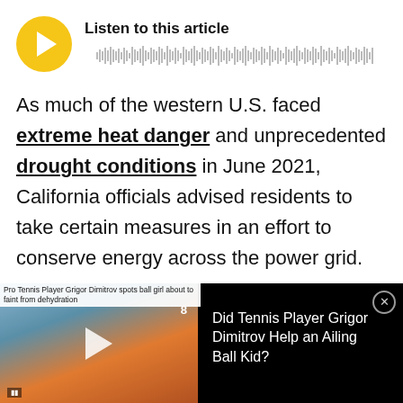[Figure (other): Audio player widget with yellow circular play button and waveform bars. Title: Listen to this article]
As much of the western U.S. faced extreme heat danger and unprecedented drought conditions in June 2021, California officials advised residents to take certain measures in an effort to conserve energy across the power grid.
[Figure (screenshot): Video overlay card with thumbnail of a tennis match scene. Caption: Pro Tennis Player Grigor Dimitrov spots ball girl about to faint from dehydration. Title: Did Tennis Player Grigor Dimitrov Help an Ailing Ball Kid? Close button (X) at top right.]
[Figure (other): Advertisement banner: Background Check: Investigating George Floyd's Criminal Record with yellow arrow button.]